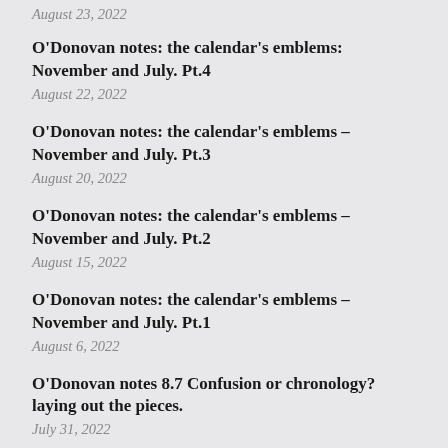August 23, 2022
O'Donovan notes: the calendar's emblems: November and July. Pt.4
August 22, 2022
O'Donovan notes: the calendar's emblems – November and July. Pt.3
August 20, 2022
O'Donovan notes: the calendar's emblems – November and July. Pt.2
August 15, 2022
O'Donovan notes: the calendar's emblems – November and July. Pt.1
August 6, 2022
O'Donovan notes 8.7 Confusion or chronology? laying out the pieces.
July 31, 2022